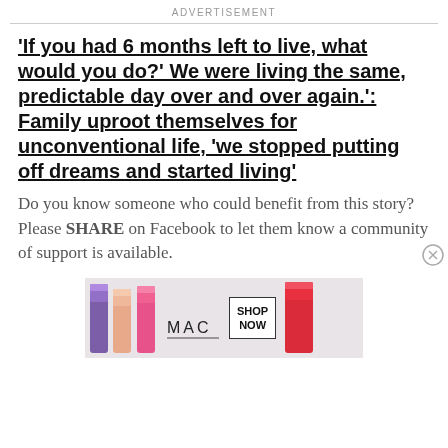ADVERTISEMENT
'If you had 6 months left to live, what would you do?' We were living the same, predictable day over and over again.': Family uproot themselves for unconventional life, 'we stopped putting off dreams and started living'
Do you know someone who could benefit from this story? Please SHARE on Facebook to let them know a community of support is available.
[Figure (other): MAC Cosmetics advertisement banner showing colorful lipsticks and a 'SHOP NOW' button]